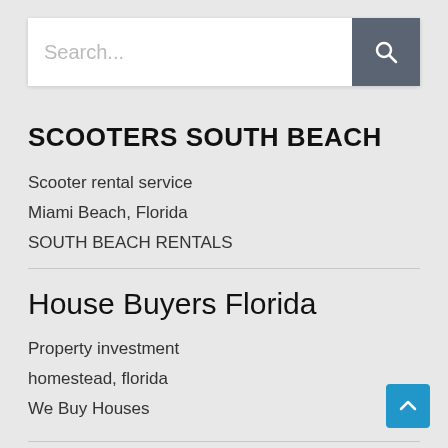[Figure (screenshot): Search bar with text input placeholder 'Search...' and a dark grey search button with magnifying glass icon]
SCOOTERS SOUTH BEACH
Scooter rental service
Miami Beach, Florida
SOUTH BEACH RENTALS
House Buyers Florida
Property investment
homestead, florida
We Buy Houses